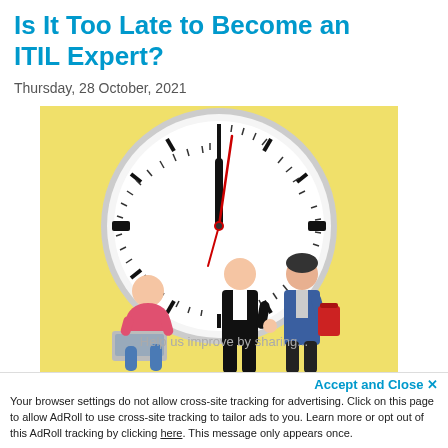Is It Too Late to Become an ITIL Expert?
Thursday, 28 October, 2021
[Figure (illustration): Illustration of a large clock on a yellow background with three professionals: one seated using a laptop, one standing in a suit giving thumbs up, and one standing in a blue blazer holding a red clipboard.]
Help us improve by sharing...
Accept and Close ✕
Your browser settings do not allow cross-site tracking for advertising. Click on this page to allow AdRoll to use cross-site tracking to tailor ads to you. Learn more or opt out of this AdRoll tracking by clicking here. This message only appears once.